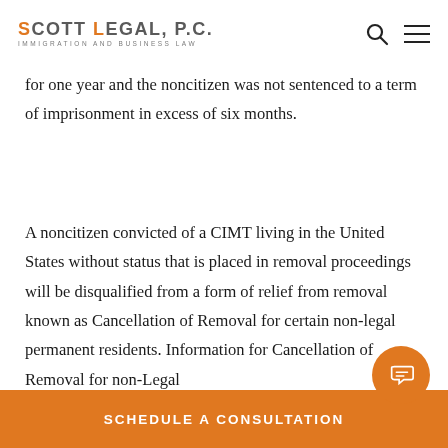SCOTT LEGAL, P.C. IMMIGRATION AND BUSINESS LAW
for one year and the noncitizen was not sentenced to a term of imprisonment in excess of six months.
A noncitizen convicted of a CIMT living in the United States without status that is placed in removal proceedings will be disqualified from a form of relief from removal known as Cancellation of Removal for certain non-legal permanent residents. Information for Cancellation of Removal for non-Legal
SCHEDULE A CONSULTATION